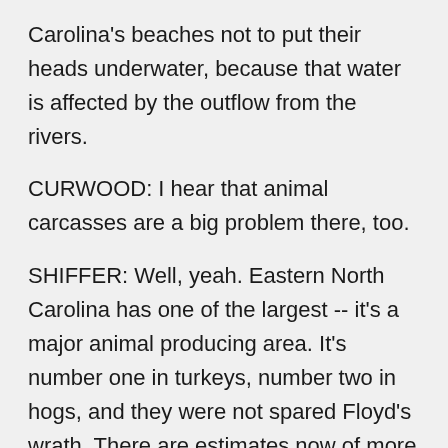Carolina's beaches not to put their heads underwater, because that water is affected by the outflow from the rivers.
CURWOOD: I hear that animal carcasses are a big problem there, too.
SHIFFER: Well, yeah. Eastern North Carolina has one of the largest -- it's a major animal producing area. It's number one in turkeys, number two in hogs, and they were not spared Floyd's wrath. There are estimates now of more than 30,000 hogs were killed, more than a million chicken and